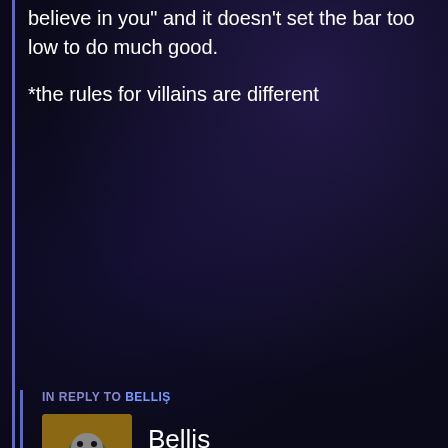believe in you” and it doesn’t set the bar too low to do much good.
*the rules for villains are different
Reply
IN REPLY TO BELLIS
Bellis
April 10, 2021 at 2:47 am
I’ve had more thoughts on this topic. Sorry, P, this isn’t meant as a criticism to you, it just so happens that you started this topic and I’m very passionate about it so I’m having a lot of